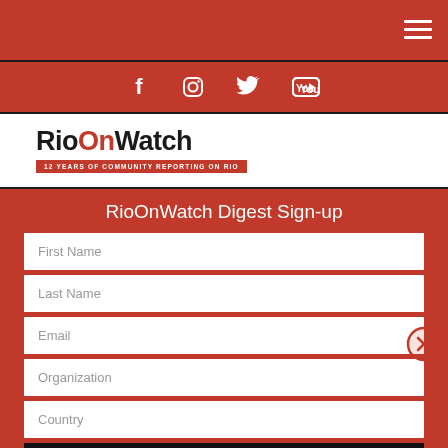[Figure (screenshot): Hamburger menu icon (three white horizontal lines) in top-right corner on red background]
[Figure (screenshot): Social media icons: Facebook, Instagram, Twitter, YouTube — white on red background]
[Figure (logo): RioOnWatch logo with tagline: 12 YEARS OF COMMUNITY REPORTING ON RIO]
RioOnWatch Digest Sign-up
First Name
Last Name
Email
Organization
Country
Subscribe